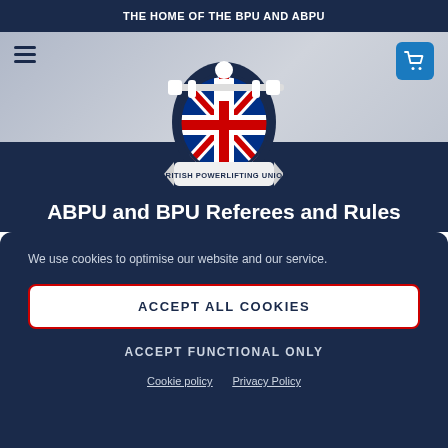THE HOME OF THE BPU AND ABPU
[Figure (logo): British Powerlifting Union logo: white silhouette of powerlifter holding barbell above a Union Jack shield, text 'BRITISH POWERLIFTING UNION' on banner below]
ABPU and BPU Referees and Rules
We use cookies to optimise our website and our service.
ACCEPT ALL COOKIES
ACCEPT FUNCTIONAL ONLY
Cookie policy  Privacy Policy